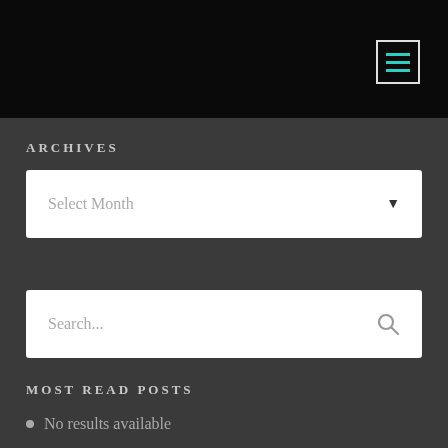ARCHIVES
[Figure (screenshot): Dropdown selector with placeholder text 'Select Month' and a down arrow]
[Figure (screenshot): Search input box with placeholder text 'Search...' and a magnifying glass icon]
MOST READ POSTS
No results available